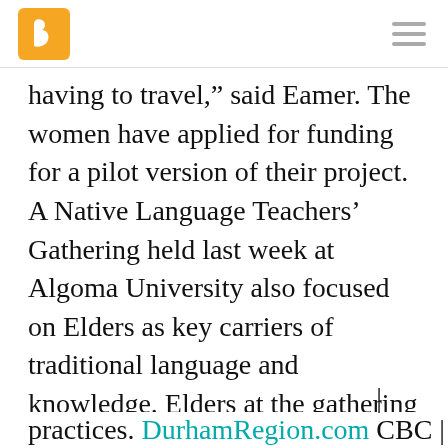[Logo] [Menu]
having to travel,” said Eamer. The women have applied for funding for a pilot version of their project. A Native Language Teachers’ Gathering held last week at Algoma University also focused on Elders as key carriers of traditional language and knowledge. Elders at the gathering were connected with younger language teachers in order to share resources, techniques, and best practices. DurhamRegion.com | CBC | Al
practices. DurhamRegion.com | CBC | Al